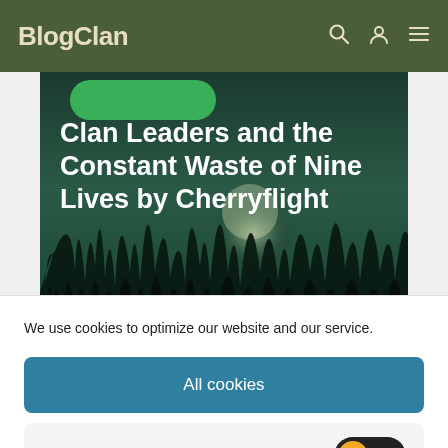BlogClan
[Figure (screenshot): Hero banner image with dark teal/green atmospheric night scene with grass silhouettes and moonlight glow. Article title overlay reads: Clan Leaders and the Constant Waste of Nine Lives by Cherryflight]
Clan Leaders and the Constant Waste of Nine Lives by Cherryflight
We use cookies to optimize our website and our service.
All cookies
Functional only